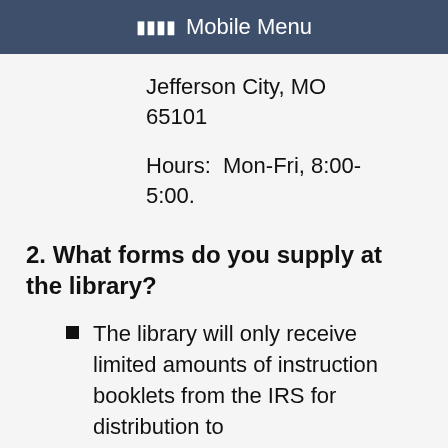Mobile Menu
Jefferson City, MO 65101
Hours:  Mon-Fri, 8:00-5:00.
2. What forms do you supply at the library?
The library will only receive limited amounts of instruction booklets from the IRS for distribution to